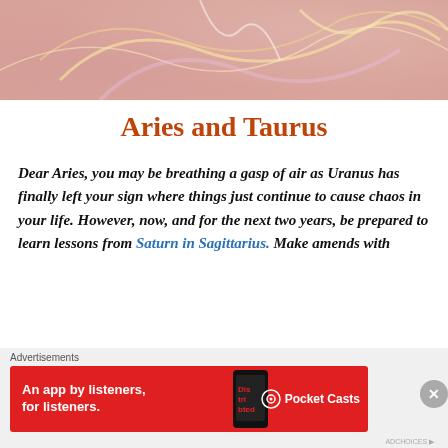[Figure (photo): Abstract swirling colorful background image with pink, lavender, and golden hues resembling feathers or flames]
Aries and Taurus
Dear Aries, you may be breathing a gasp of air as Uranus has finally left your sign where things just continue to cause chaos in your life. However, now, and for the next two years, be prepared to learn lessons from Saturn in Sagittarius. Make amends with
[Figure (screenshot): Advertisement banner: Pocket Casts app ad on red background reading 'An app by listeners, for listeners.' with phone graphic and Pocket Casts branding]